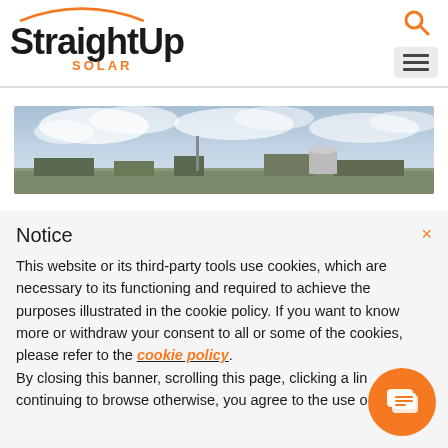[Figure (logo): StraightUp Solar logo with orange arc above text and orange SOLAR subtitle]
[Figure (photo): Wide panoramic photo of an industrial rooftop or facility against a cloudy sky]
Notice
This website or its third-party tools use cookies, which are necessary to its functioning and required to achieve the purposes illustrated in the cookie policy. If you want to know more or withdraw your consent to all or some of the cookies, please refer to the cookie policy. By closing this banner, scrolling this page, clicking a link or continuing to browse otherwise, you agree to the use of